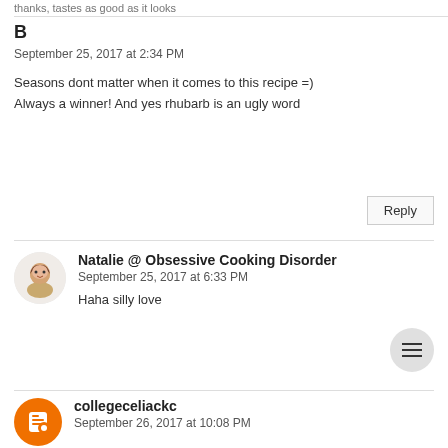thanks, tastes as good as it looks
B
September 25, 2017 at 2:34 PM
Seasons dont matter when it comes to this recipe =) Always a winner! And yes rhubarb is an ugly word
Reply
Natalie @ Obsessive Cooking Disorder
September 25, 2017 at 6:33 PM
Haha silly love
collegeceliackc
September 26, 2017 at 10:08 PM